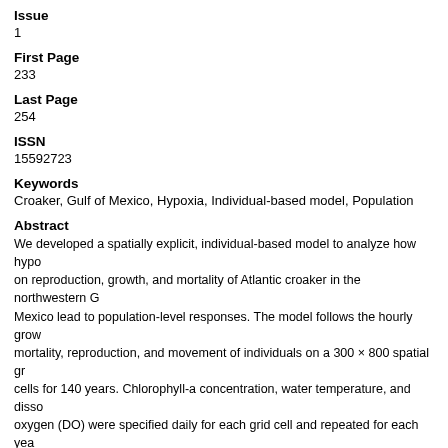Issue
1
First Page
233
Last Page
254
ISSN
15592723
Keywords
Croaker, Gulf of Mexico, Hypoxia, Individual-based model, Population
Abstract
We developed a spatially explicit, individual-based model to analyze how hypo on reproduction, growth, and mortality of Atlantic croaker in the northwestern G Mexico lead to population-level responses. The model follows the hourly grow mortality, reproduction, and movement of individuals on a 300 × 800 spatial gr cells for 140 years. Chlorophyll-a concentration, water temperature, and disso oxygen (DO) were specified daily for each grid cell and repeated for each yea simulation. A bioenergetics model was used to represent growth, mortality was stage- and age-dependent, and the movement behavior of juveniles and adult modeled based on temperature and avoidance of low DO. Hypoxia effects we using exposure effect submodels that converted time-varying exposures to low on reproduction, growth, and mortality, and repeated for